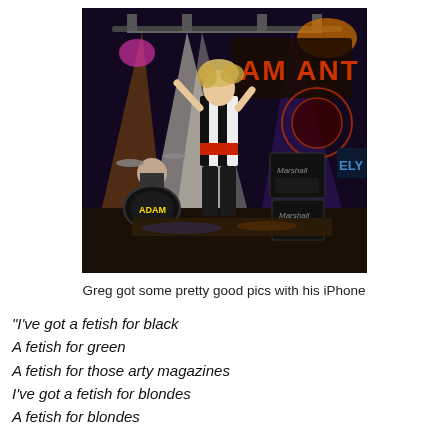[Figure (photo): Concert photo of Adam Ant performing on stage with dramatic stage lighting in orange, purple and white. A drummer is visible in the background. A bass drum with 'ADAM' written on it is visible. 'AM ANT' signage visible in background. Marshall amplifiers on stage.]
Greg got some pretty good pics with his iPhone
"I've got a fetish for black
A fetish for green
A fetish for those arty magazines
I've got a fetish for blondes
A fetish for blondes